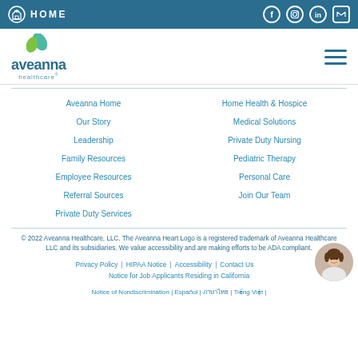HOME
[Figure (logo): Aveanna Healthcare logo with green and blue leaf/heart icon and wordmark]
Aveanna Home
Our Story
Leadership
Family Resources
Employee Resources
Referral Sources
Private Duty Services
Home Health & Hospice
Medical Solutions
Private Duty Nursing
Pediatric Therapy
Personal Care
Join Our Team
© 2022 Aveanna Healthcare, LLC. The Aveanna Heart Logo is a registered trademark of Aveanna Healthcare LLC and its subsidiaries. We value accessibility and are making efforts to be ADA compliant.
Privacy Policy | HIPAA Notice | Accessibility | Contact Us | Notice for Job Applicants Residing in California
Notice of Nondiscrimination | Español | ภาษาไทย | Tiếng Việt |